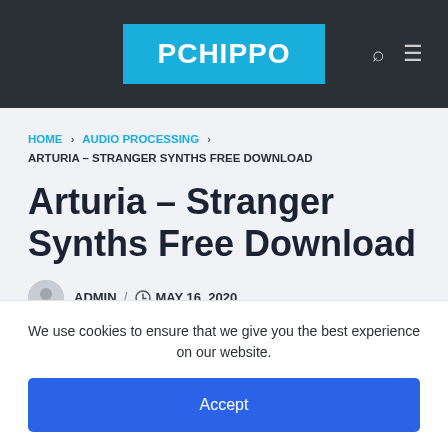PCHIPPO
HOME > AUDIO PROCESSING > ARTURIA – STRANGER SYNTHS FREE DOWNLOAD
Arturia – Stranger Synths Free Download
ADMIN / MAY 16, 2020
We use cookies to ensure that we give you the best experience on our website.
Accept